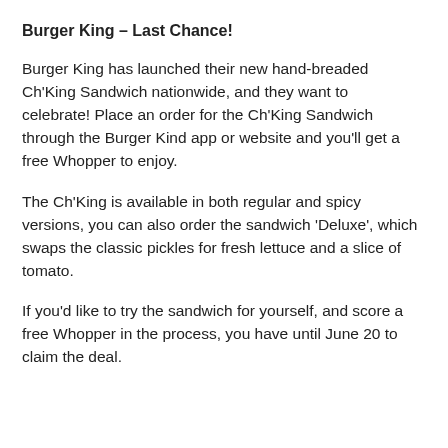Burger King – Last Chance!
Burger King has launched their new hand-breaded Ch'King Sandwich nationwide, and they want to celebrate! Place an order for the Ch'King Sandwich through the Burger Kind app or website and you'll get a free Whopper to enjoy.
The Ch'King is available in both regular and spicy versions, you can also order the sandwich 'Deluxe', which swaps the classic pickles for fresh lettuce and a slice of tomato.
If you'd like to try the sandwich for yourself, and score a free Whopper in the process, you have until June 20 to claim the deal.